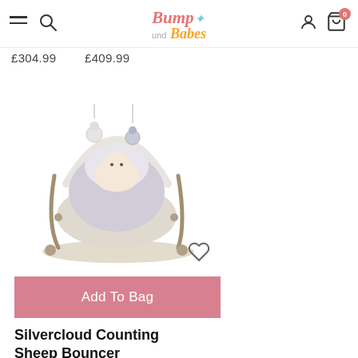Bump und Babes — navigation header with hamburger menu, search icon, logo, user icon, and bag icon (0 items)
£304.99   £409.99
[Figure (photo): Baby bouncer seat — Silvercloud Counting Sheep Bouncer with white padded seat, soft plush toys hanging from arch, grey fabric, baby lying in it. Heart/wishlist icon visible bottom right of image.]
Add To Bag
Silvercloud Counting Sheep Bouncer